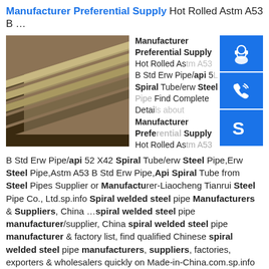Manufacturer Preferential Supply Hot Rolled Astm A53 B …
[Figure (photo): Stacked hot rolled steel plates/sheets in an industrial setting]
Manufacturer Preferential Supply Hot Rolled Astm A53 B Std Erw Pipe/api 5L Spiral Tube/erw Steel Pipe, Find Complete Details about Manufacturer Preferential Supply Hot Rolled Astm A53 B Std Erw Pipe/api 52 X42 Spiral Tube/erw Steel Pipe,Erw Steel Pipe,Astm A53 B Std Erw Pipe,Api Spiral Tube from Steel Pipes Supplier or Manufacturer-Liaocheng Tianrui Steel Pipe Co., Ltd.sp.info Spiral welded steel pipe Manufacturers & Suppliers, China …spiral welded steel pipe manufacturer/supplier, China spiral welded steel pipe manufacturer & factory list, find qualified Chinese spiral welded steel pipe manufacturers, suppliers, factories, exporters & wholesalers quickly on Made-in-China.com.sp.info API 5L